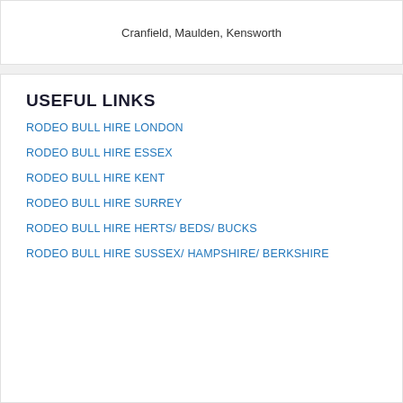Cranfield, Maulden, Kensworth
USEFUL LINKS
RODEO BULL HIRE LONDON
RODEO BULL HIRE ESSEX
RODEO BULL HIRE KENT
RODEO BULL HIRE SURREY
RODEO BULL HIRE HERTS/ BEDS/ BUCKS
RODEO BULL HIRE SUSSEX/ HAMPSHIRE/ BERKSHIRE